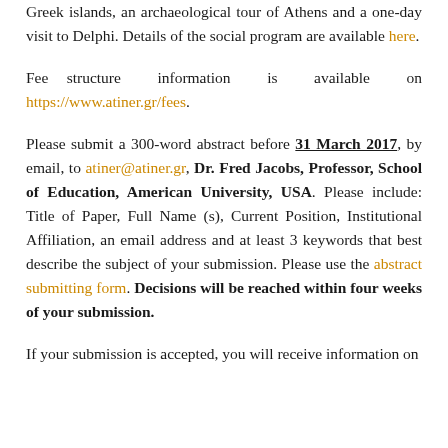Greek islands, an archaeological tour of Athens and a one-day visit to Delphi. Details of the social program are available here.
Fee structure information is available on https://www.atiner.gr/fees.
Please submit a 300-word abstract before 31 March 2017, by email, to atiner@atiner.gr, Dr. Fred Jacobs, Professor, School of Education, American University, USA. Please include: Title of Paper, Full Name (s), Current Position, Institutional Affiliation, an email address and at least 3 keywords that best describe the subject of your submission. Please use the abstract submitting form. Decisions will be reached within four weeks of your submission.
If your submission is accepted, you will receive information on